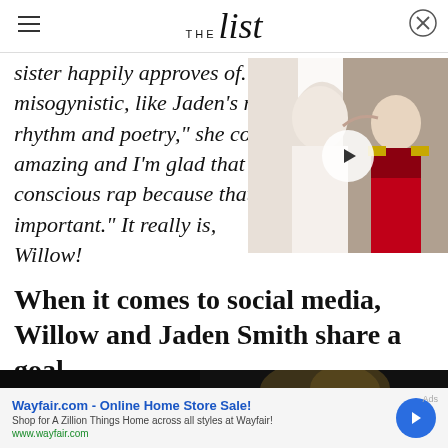THE list
sister happily approves of. "I misogynistic, like Jaden's rap rhythm and poetry," she cont amazing and I'm glad that Ja conscious rap because that's so important." It really is, Willow!
[Figure (photo): Video thumbnail showing a couple at what appears to be a wedding — a woman in a veil kissing a man in military dress uniform, with a play button overlay]
When it comes to social media, Willow and Jaden Smith share a goal
[Figure (photo): Dark strip image at bottom of page]
Wayfair.com - Online Home Store Sale!
Shop for A Zillion Things Home across all styles at Wayfair!
www.wayfair.com